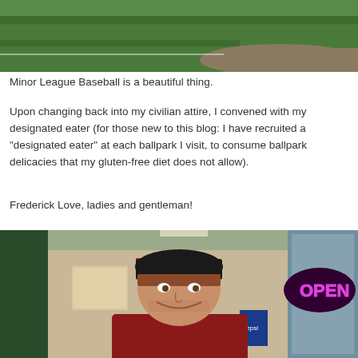[Figure (photo): Aerial or elevated view of a baseball field with a player visible on green grass]
Minor League Baseball is a beautiful thing.
Upon changing back into my civilian attire, I convened with my designated eater (for those new to this blog: I have recruited a "designated eater" at each ballpark I visit, to consume ballpark delicacies that my gluten-free diet does not allow).
Frederick Love, ladies and gentleman!
[Figure (photo): A young man with reddish hair wearing a black cap and red jacket, smiling at camera, with an OPEN neon sign visible in the background at what appears to be a ballpark concession area]